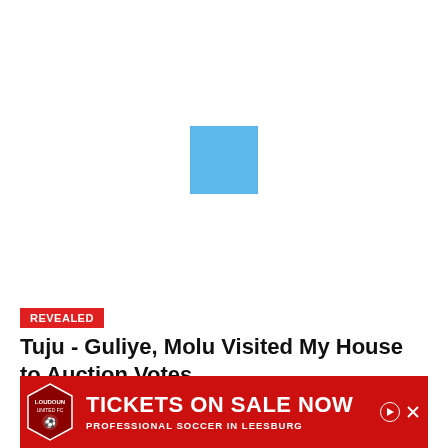[Figure (illustration): Partially loaded image placeholder showing a blue square icon on white background]
REVEALED
Tuju - Guliye, Molu Visited My House to Auction Votes
28 August 2022 - 5:38 pm
[Figure (illustration): Advertisement banner: Loudoun United FC - Tickets on Sale Now - Professional Soccer in Leesburg, red background with club shield logo]